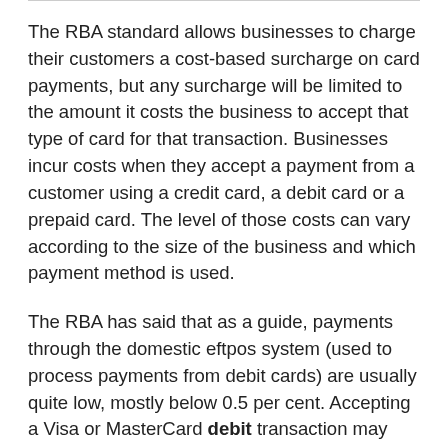The RBA standard allows businesses to charge their customers a cost-based surcharge on card payments, but any surcharge will be limited to the amount it costs the business to accept that type of card for that transaction. Businesses incur costs when they accept a payment from a customer using a credit card, a debit card or a prepaid card. The level of those costs can vary according to the size of the business and which payment method is used.
The RBA has said that as a guide, payments through the domestic eftpos system (used to process payments from debit cards) are usually quite low, mostly below 0.5 per cent. Accepting a Visa or MasterCard debit transaction may cost a business around 0.5 -1 per cent of the transaction value.
Credit cards usually have a higher cost for businesses...